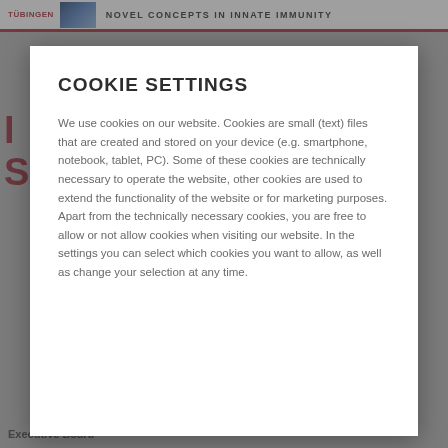TÜBINGEN | NOVEL CONCEPTS IN INNATE IMMUNITY
COOKIE SETTINGS
We use cookies on our website. Cookies are small (text) files that are created and stored on your device (e.g. smartphone, notebook, tablet, PC). Some of these cookies are technically necessary to operate the website, other cookies are used to extend the functionality of the website or for marketing purposes. Apart from the technically necessary cookies, you are free to allow or not allow cookies when visiting our website. In the settings you can select which cookies you want to allow, as well as change your selection at any time.
Executive Board